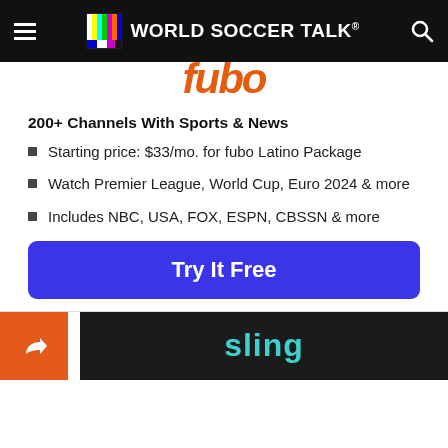WORLD SOCCER TALK
[Figure (logo): fubo orange italic logo (partially visible, cropped at top)]
200+ Channels With Sports & News
Starting price: $33/mo. for fubo Latino Package
Watch Premier League, World Cup, Euro 2024 & more
Includes NBC, USA, FOX, ESPN, CBSSN & more
[Figure (other): Blue 'Try It Free' call-to-action button]
[Figure (logo): Sling TV logo on dark background, partially visible at bottom]